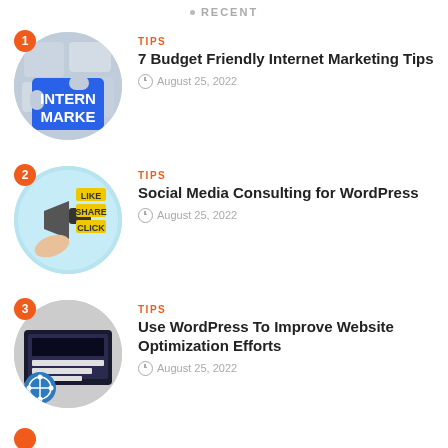RECENT
TIPS
7 Budget Friendly Internet Marketing Tips
August 25, 2022
TIPS
Social Media Consulting for WordPress
August 25, 2022
TIPS
Use WordPress To Improve Website Optimization Efforts
August 25, 2022